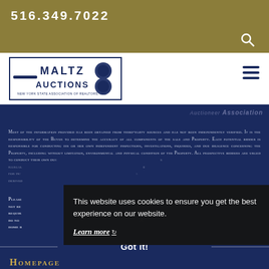516.349.7022
[Figure (logo): Maltz Auctions logo with gavel and bordered text box]
Most of the information provided has been obtained from third-party sources and has not been independently verified. It is the responsibility of the Buyer to determine the accuracy of all components of the sale and Property. Each potential bidder is responsible for conducting his or her own independent inspections, investigations, inquiries, and due diligence concerning the Property, including without limitation, environmental and physical condition of the Property. All prospective bidders are urged to conduct their own due diligence... illegal... for information... derived...
Please... not re... require... do not... home b...
This website uses cookies to ensure you get the best experience on our website.
Learn more
Got it!
Homepage